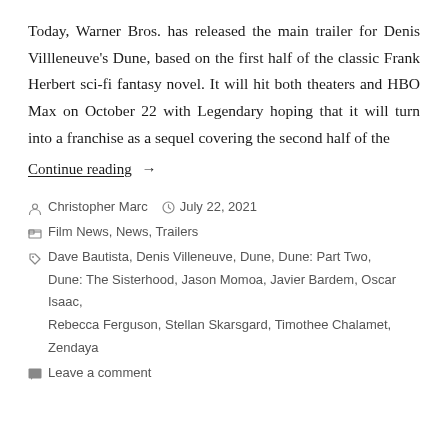Today, Warner Bros. has released the main trailer for Denis Villleneuve's Dune, based on the first half of the classic Frank Herbert sci-fi fantasy novel. It will hit both theaters and HBO Max on October 22 with Legendary hoping that it will turn into a franchise as a sequel covering the second half of the
Continue reading →
Christopher Marc   July 22, 2021
Film News, News, Trailers
Dave Bautista, Denis Villeneuve, Dune, Dune: Part Two, Dune: The Sisterhood, Jason Momoa, Javier Bardem, Oscar Isaac, Rebecca Ferguson, Stellan Skarsgard, Timothee Chalamet, Zendaya
Leave a comment